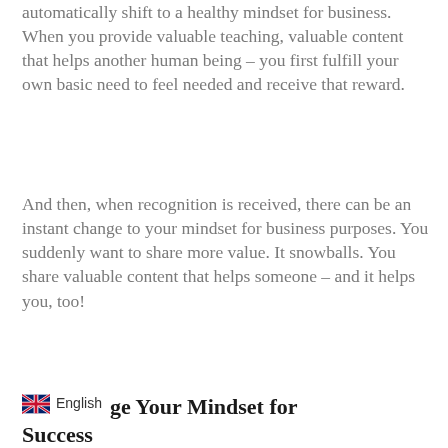automatically shift to a healthy mindset for business. When you provide valuable teaching, valuable content that helps another human being – you first fulfill your own basic need to feel needed and receive that reward.
And then, when recognition is received, there can be an instant change to your mindset for business purposes. You suddenly want to share more value. It snowballs. You share valuable content that helps someone – and it helps you, too!
Change Your Mindset for Success